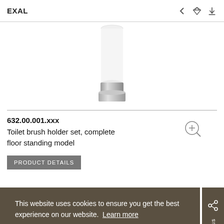EXAL
[Figure (photo): Product photo of a chrome toilet brush holder, cylindrical shape with white top and chrome base, viewed from front]
632.00.001.xxx
Toilet brush holder set, complete floor standing model
PRODUCT DETAILS
This website uses cookies to ensure you get the best experience on our website. Learn more
Got it!